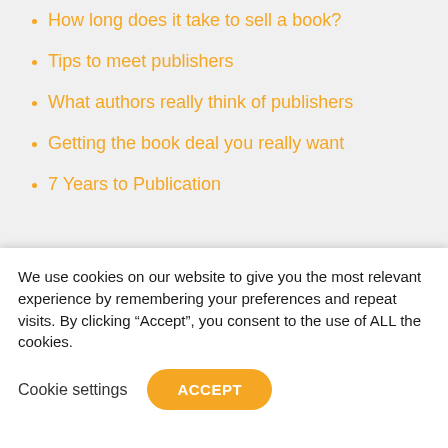How long does it take to sell a book?
Tips to meet publishers
What authors really think of publishers
Getting the book deal you really want
7 Years to Publication
[Figure (illustration): Teal/mint colored banner image with partial circular avatar shape at bottom]
We use cookies on our website to give you the most relevant experience by remembering your preferences and repeat visits. By clicking “Accept”, you consent to the use of ALL the cookies.
Cookie settings
ACCEPT